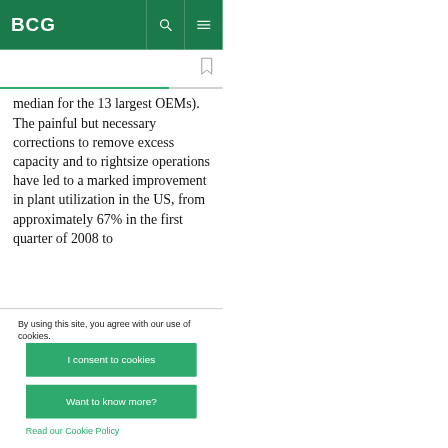BCG
median for the 13 largest OEMs). The painful but necessary corrections to remove excess capacity and to rightsize operations have led to a marked improvement in plant utilization in the US, from approximately 67% in the first quarter of 2008 to
By using this site, you agree with our use of cookies.
I consent to cookies
Want to know more?
Read our Cookie Policy